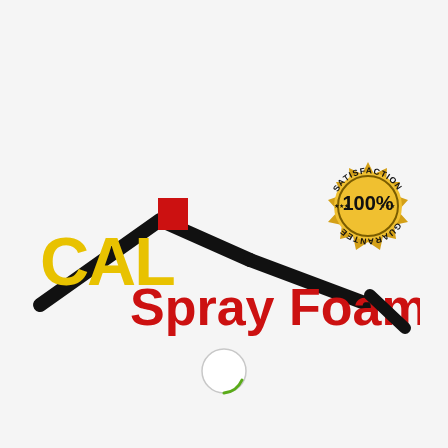[Figure (logo): CAL Spray Foam logo with house roofline silhouette, red chimney, yellow CAL text, red Spray Foam text, and a gold 100% Satisfaction Guarantee seal badge]